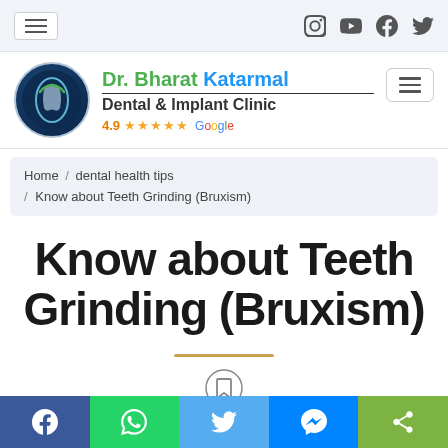Dr. Bharat Katarmal Dental & Implant Clinic — navigation header with social icons
[Figure (logo): Circular dental clinic logo with tooth silhouette on dark blue background, next to clinic name Dr. Bharat Katarmal Dental & Implant Clinic with 4.9 Google star rating]
Home / dental health tips / Know about Teeth Grinding (Bruxism)
Know about Teeth Grinding (Bruxism)
[Figure (other): Bookmark/save icon]
Social share bar: Facebook, WhatsApp, Twitter, Messenger, Share